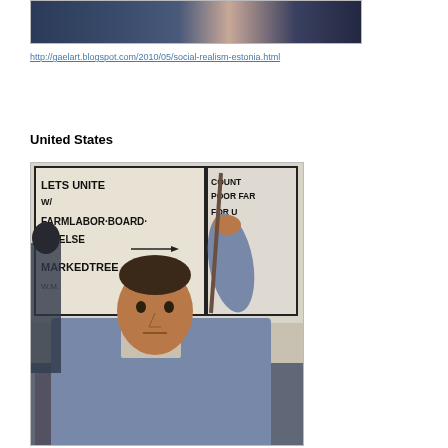[Figure (illustration): Top portion of a social realism painting showing figures in dark clothing against a muted background]
http://gaelart.blogspot.com/2010/05/social-realism-estonia.html
United States
[Figure (illustration): Social realism painting of a man holding a protest sign that reads 'LETS UNITE W/ FARMLABOR BOARD OR ELSE MARKEDTREE' with additional text on a right panel reading 'COUNTY POOR FAR FOR U'. The man is wearing work clothes and looking intensely at the viewer.]